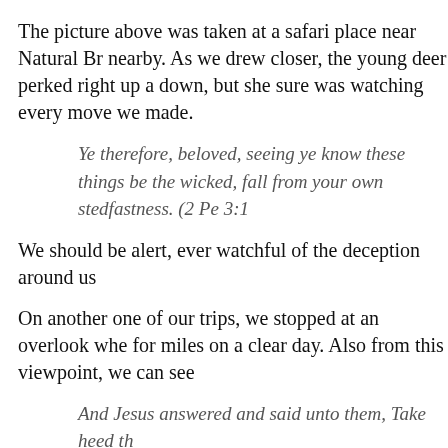The picture above was taken at a safari place near Natural Br nearby. As we drew closer, the young deer perked right up a down, but she sure was watching every move we made.
Ye therefore, beloved, seeing ye know these things be the wicked, fall from your own stedfastness. (2 Pe 3:1
We should be alert, ever watchful of the deception around us
On another one of our trips, we stopped at an overlook whe for miles on a clear day. Also from this viewpoint, we can see
And Jesus answered and said unto them, Take heed th
We should be able to spot deception from afar, my friend. Ho to find out what deception is. There is comfort and encourag what too look out for. We are not caught unaware.
And take heed to yourselves, lest at any time your he